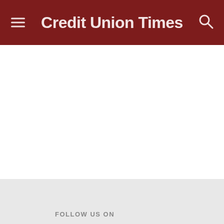Credit Union Times
FOLLOW US ON